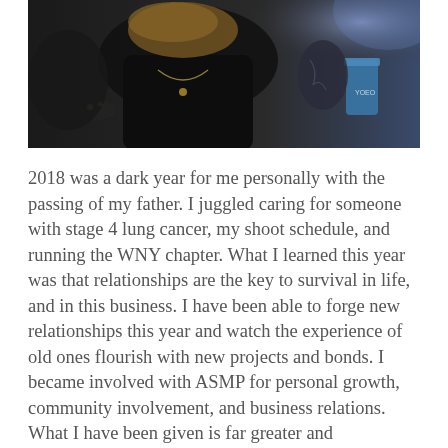[Figure (photo): A person wearing a dark top and gold necklace leans over a surface in a dimly lit setting. Other people and a blue cup are visible in the background.]
2018 was a dark year for me personally with the passing of my father. I juggled caring for someone with stage 4 lung cancer, my shoot schedule, and running the WNY chapter. What I learned this year was that relationships are the key to survival in life, and in this business. I have been able to forge new relationships this year and watch the experience of old ones flourish with new projects and bonds. I became involved with ASMP for personal growth, community involvement, and business relations. What I have been given is far greater and unexpected. I have been afforded an opportunity to meet and work with amazing people in all stages of their careers, and help build a community. Thank you all for all you do. I'm